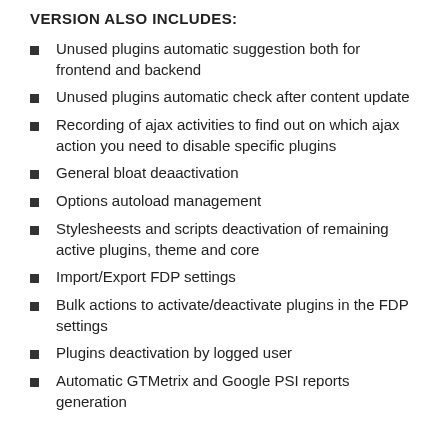VERSION ALSO INCLUDES:
Unused plugins automatic suggestion both for frontend and backend
Unused plugins automatic check after content update
Recording of ajax activities to find out on which ajax action you need to disable specific plugins
General bloat deaactivation
Options autoload management
Stylesheests and scripts deactivation of remaining active plugins, theme and core
Import/Export FDP settings
Bulk actions to activate/deactivate plugins in the FDP settings
Plugins deactivation by logged user
Automatic GTMetrix and Google PSI reports generation